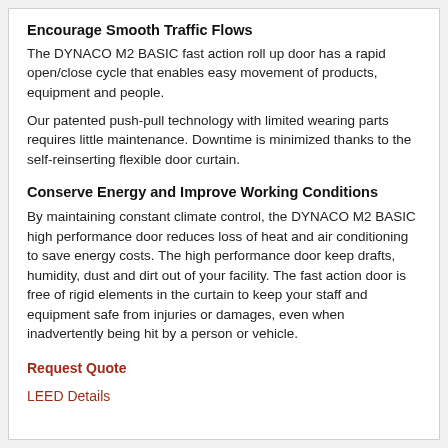Encourage Smooth Traffic Flows
The DYNACO M2 BASIC fast action roll up door has a rapid open/close cycle that enables easy movement of products, equipment and people.
Our patented push-pull technology with limited wearing parts requires little maintenance. Downtime is minimized thanks to the self-reinserting flexible door curtain.
Conserve Energy and Improve Working Conditions
By maintaining constant climate control, the DYNACO M2 BASIC high performance door reduces loss of heat and air conditioning to save energy costs. The high performance door keep drafts, humidity, dust and dirt out of your facility. The fast action door is free of rigid elements in the curtain to keep your staff and equipment safe from injuries or damages, even when inadvertently being hit by a person or vehicle.
Request Quote
LEED Details